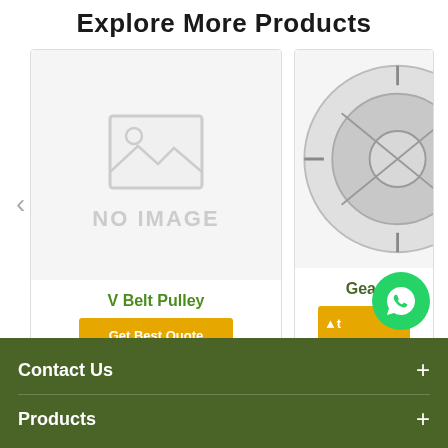Explore More Products
[Figure (photo): Product card showing placeholder 'NO IMAGE' with mountains/landscape icon for V Belt Pulley product with a 'Get Best Quote' button]
[Figure (photo): Partially visible product card showing a gear/mechanical component image, product name starting with 'Gear' and a partially visible 'Get Best Quote' button]
Contact Us
Products